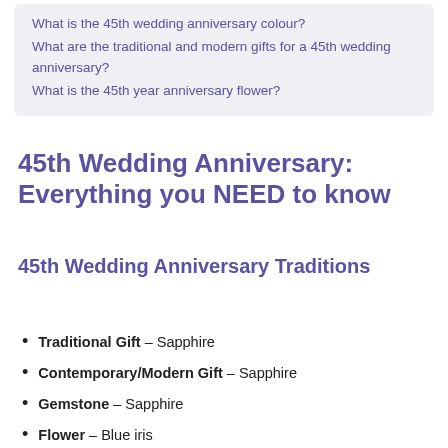What is the 45th wedding anniversary colour?
What are the traditional and modern gifts for a 45th wedding anniversary?
What is the 45th year anniversary flower?
45th Wedding Anniversary: Everything you NEED to know
45th Wedding Anniversary Traditions
Traditional Gift – Sapphire
Contemporary/Modern Gift – Sapphire
Gemstone – Sapphire
Flower – Blue iris
Colour – Blue